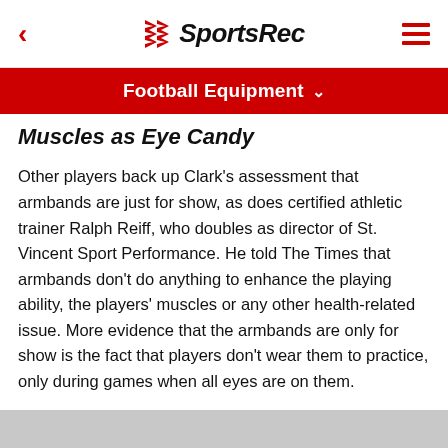SportsRec
Football Equipment
Muscles as Eye Candy
Other players back up Clark's assessment that armbands are just for show, as does certified athletic trainer Ralph Reiff, who doubles as director of St. Vincent Sport Performance. He told The Times that armbands don't do anything to enhance the playing ability, the players' muscles or any other health-related issue. More evidence that the armbands are only for show is the fact that players don't wear them to practice, only during games when all eyes are on them.